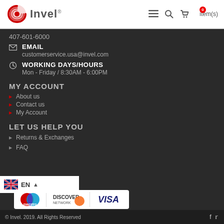[Figure (logo): Invel logo with red circular icon and grey Invel text with registered trademark symbol, plus navigation icons (hamburger menu, search, cart with 0 items)]
407-601-6000
EMAIL
customerservice.usa@invel.com
WORKING DAYS/HOURS
Mon - Friday / 8:30AM - 6:00PM
MY ACCOUNT
About us
Contact us
My Account
LET US HELP YOU
Returns & Exchanges
FAQ
[Figure (logo): Payment method logos: Maestro, Discover Network, Visa]
© Invel. 2019. All Rights Reserved